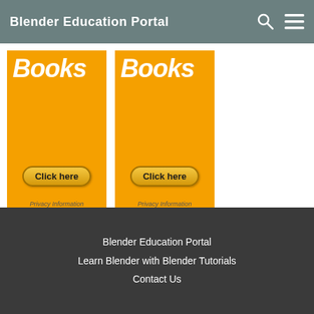Blender Education Portal
[Figure (screenshot): Two orange book advertisement cards side by side, each titled 'Books' in bold white italic text, with a 'Click here' button and 'Privacy Information' text below]
Blender Education Portal
Learn Blender with Blender Tutorials
Contact Us